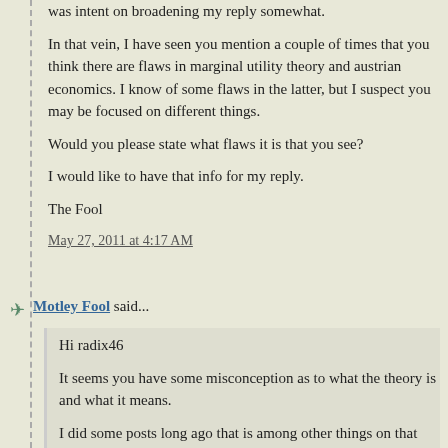...haven't which a reply you will do it this weekend somewhere. I was intent on broadening my reply somewhat.
In that vein, I have seen you mention a couple of times that you think there are flaws in marginal utility theory and austrian economics. I know of some flaws in the latter, but I suspect you may be focused on different things.
Would you please state what flaws it is that you see?
I would like to have that info for my reply.
The Fool
May 27, 2011 at 4:17 AM
Motley Fool said...
Hi radix46
It seems you have some misconception as to what the theory is and what it means.
I did some posts long ago that is among other things on that topic, maybe it is of some use to you. :)